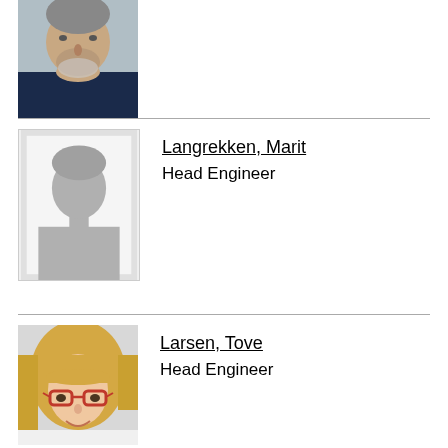[Figure (photo): Partial photo of an older man with grey beard wearing a dark blue shirt, cropped at top of page]
[Figure (photo): Placeholder silhouette image with grey background and white silhouette of a person]
Langrekken, Marit
Head Engineer
[Figure (photo): Photo of a blonde woman with red-framed glasses, smiling, wearing a white top]
Larsen, Tove
Head Engineer